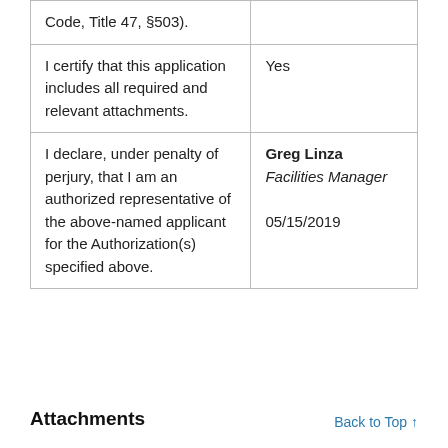| Code, Title 47, §503). |  |
| I certify that this application includes all required and relevant attachments. | Yes |
| I declare, under penalty of perjury, that I am an authorized representative of the above-named applicant for the Authorization(s) specified above. | Greg Linza
Facilities Manager

05/15/2019 |
Attachments
Back to Top ↑